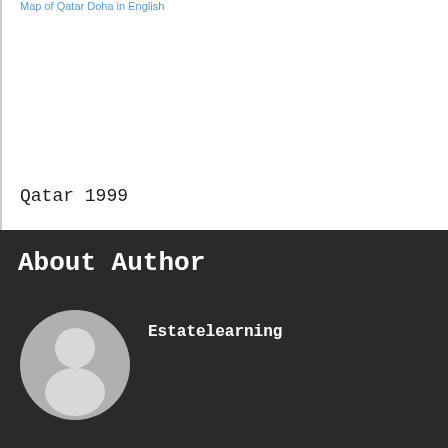Map of Qatar Doha in English
Qatar 1999
About Author
[Figure (photo): Generic user avatar placeholder — a grey circle with a white silhouette of a person (head and shoulders)]
Estatelearning